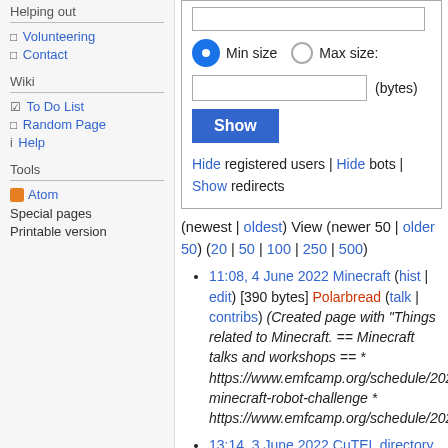Helping out
Volunteering
Contact
Wiki
To Do List
Random Page
Help
Tools
Atom
Special pages
Printable version
[Figure (screenshot): Filter form with Min size / Max size radio buttons, a text input for bytes, a Show button, and links: Hide registered users | Hide bots | Show redirects]
(newest | oldest) View (newer 50 | older 50) (20 | 50 | 100 | 250 | 500)
11:08, 4 June 2022 Minecraft (hist | edit) [390 bytes] Polarbread (talk | contribs) (Created page with "Things related to Minecraft. == Minecraft talks and workshops == * https://www.emfcamp.org/schedule/2022 minecraft-robot-challenge * https://www.emfcamp.org/schedule/2022
13:14, 3 June 2022 CuTEL directory